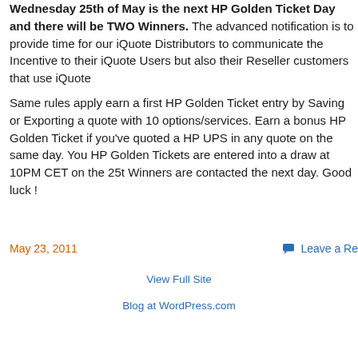Wednesday 25th of May is the next HP Golden Ticket Day and there will be TWO Winners. The advanced notification is to provide time for our iQuote Distributors to communicate the Incentive to their iQuote Users but also their Reseller customers that use iQuote
Same rules apply earn a first HP Golden Ticket entry by Saving or Exporting a quote with 10 options/services. Earn a bonus HP Golden Ticket if you've quoted a HP UPS in any quote on the same day. You HP Golden Tickets are entered into a draw at 10PM CET on the 25t Winners are contacted the next day. Good luck !
May 23, 2011
Leave a Re
View Full Site
Blog at WordPress.com